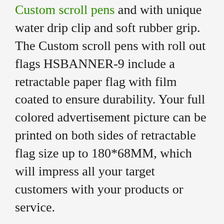Custom scroll pens and with unique water drip clip and soft rubber grip. The Custom scroll pens with roll out flags HSBANNER-9 include a retractable paper flag with film coated to ensure durability. Your full colored advertisement picture can be printed on both sides of retractable flag size up to 180*68MM, which will impress all your target customers with your products or service.
Custom scroll pens are a great way to create a lasting impression. With an eye-catching retractable banner housed inside a stylish pen, your message is sure to be kept handy and visible at all times. create excellent advertisement for any